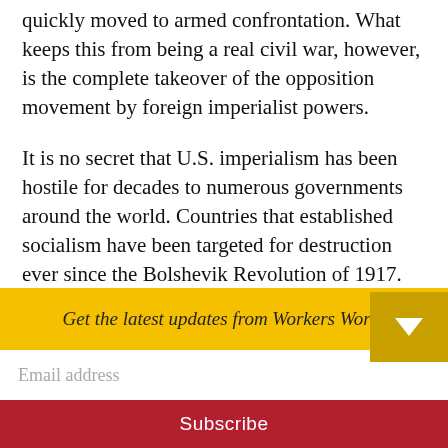quickly moved to armed confrontation. What keeps this from being a real civil war, however, is the complete takeover of the opposition movement by foreign imperialist powers.
It is no secret that U.S. imperialism has been hostile for decades to numerous governments around the world. Countries that established socialism have been targeted for destruction ever since the Bolshevik Revolution of 1917. Nations that established some measure of independence
Get the latest updates from Workers World
Email address
Subscribe